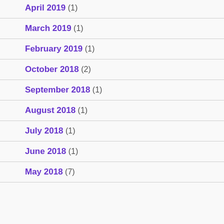April 2019 (1)
March 2019 (1)
February 2019 (1)
October 2018 (2)
September 2018 (1)
August 2018 (1)
July 2018 (1)
June 2018 (1)
May 2018 (7)